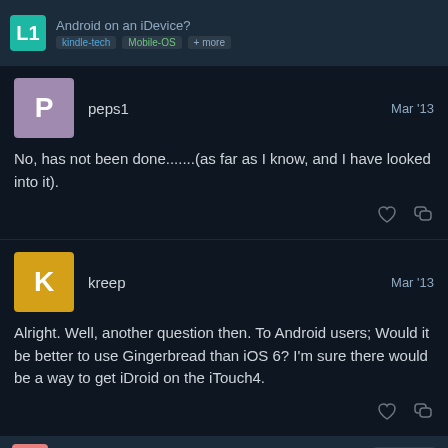Android on an iDevice? | kindle-tech | Mobile-OS | + more
peps1  Mar '13
No, has not been done.......(as far as I know, and I have looked into it).
kreep  Mar '13
Alright. Well, another question then. To Android users; Would it be better to use Gingerbread than iOS 6? I'm sure there would be a way to get iDroid on the iTouch4.
TaC_RoT
2 / 6